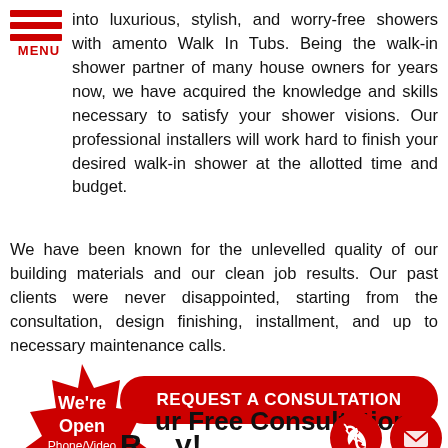[Figure (logo): Hamburger menu icon with three red horizontal bars and red 'MENU' text below]
into luxurious, stylish, and worry-free showers with amento Walk In Tubs. Being the walk-in shower partner of many house owners for years now, we have acquired the knowledge and skills necessary to satisfy your shower visions. Our professional installers will work hard to finish your desired walk-in shower at the allotted time and budget.
We have been known for the unlevelled quality of our building materials and our clean job results. Our past clients were never disappointed, starting from the consultation, design finishing, installment, and up to necessary maintenance calls.
[Figure (infographic): Red starburst badge with white text reading We're Open Phone/Video Consultations Available]
REQUEST A CONSULTATION
ur Free Consultation
R y!